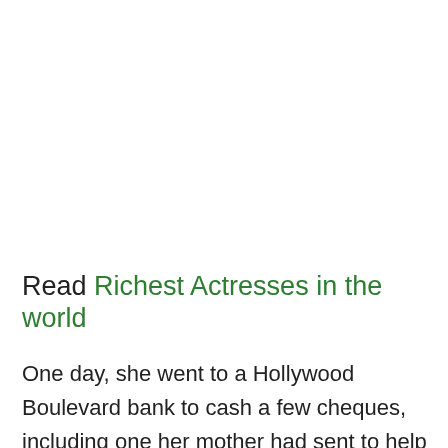Read Richest Actresses in the world
One day, she went to a Hollywood Boulevard bank to cash a few cheques, including one her mother had sent to help with the rent,  but it was rejected because it was out-of-state and she was not an American